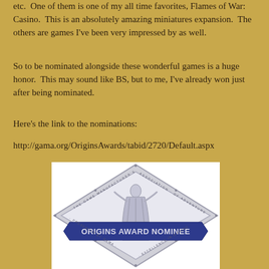etc.  One of them is one of my all time favorites, Flames of War: Casino.  This is an absolutely amazing miniatures expansion.  The others are games I've been very impressed by as well.
So to be nominated alongside these wonderful games is a huge honor.  This may sound like BS, but to me, I've already won just after being nominated.
Here's the link to the nominations:
http://gama.org/OriginsAwards/tabid/2720/Default.aspx
[Figure (illustration): Origins Award Nominee badge — a diamond-shaped silver medallion with a robed figure in the center and a blue banner across the middle reading 'ORIGINS AWARD NOMINEE' in silver letters. Text around the border reads 'THE GAME MANUFACTURER'S ASSOCIATION' and other award-related text.]